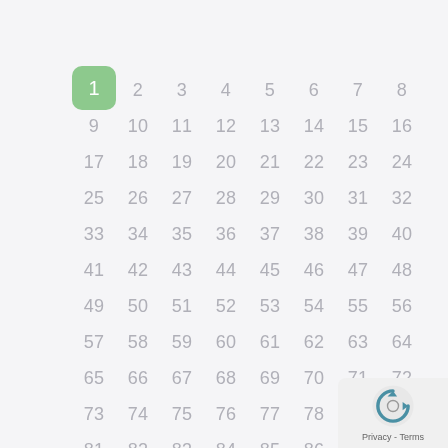[Figure (other): Grid of numbers 1-88 arranged in 8 columns and 11 rows. Number 1 is highlighted with a green rounded rectangle background. The rest are in light gray. A reCAPTCHA Privacy-Terms badge appears in the bottom-right corner.]